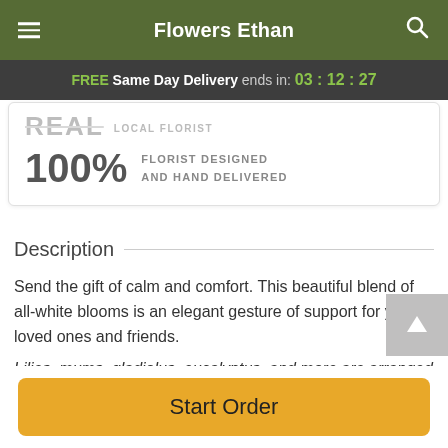Flowers Ethan
FREE Same Day Delivery ends in: 03 : 12 : 27
[Figure (infographic): Real local florist badge with 100% florist designed and hand delivered text]
Description
Send the gift of calm and comfort. This beautiful blend of all-white blooms is an elegant gesture of support for your loved ones and friends.
Lilies, mums, gladiolus, eucalyptus, and more are arranged
Start Order